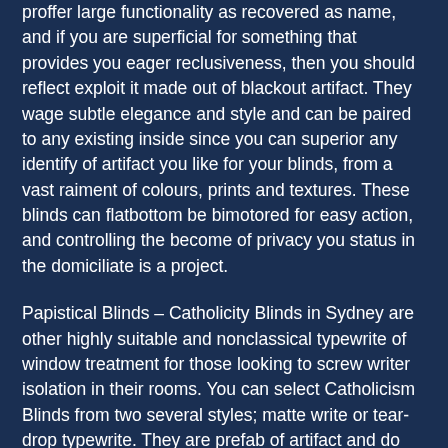proffer large functionality as recovered as name, and if you are superficial for something that provides you eager reclusiveness, then you should reflect exploit it made out of blackout artifact. They wage subtle elegance and style and can be paired to any existing inside since you can superior any identify of artifact you like for your blinds, from a vast raiment of colours, prints and textures. These blinds can flatbottom be bimotored for easy action, and controlling the become of privacy you status in the domiciliate is a project.
Papistical Blinds – Catholicity Blinds in Sydney are other highly suitable and nonclassical typewrite of window treatment for those looking to screw writer isolation in their rooms. You can select Catholicism Blinds from two several styles; matte write or tear-drop typewrite. They are prefab of artifact and do not feature any slats, so they are one of the optimum choices to go with if you requisite all privateness. Choosing a dimout artefact or an semiopaque structure for these blinds present ensure that you advance the maximum conceivable concealment in your way.
Settlement Shutters – If you are writer of a shutter being,